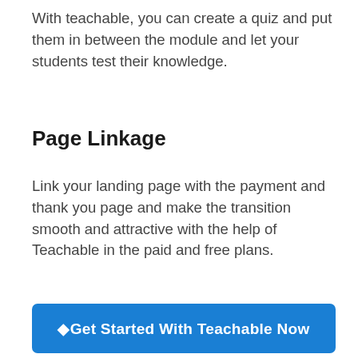With teachable, you can create a quiz and put them in between the module and let your students test their knowledge.
Page Linkage
Link your landing page with the payment and thank you page and make the transition smooth and attractive with the help of Teachable in the paid and free plans.
[Figure (other): Blue CTA button with text: Get Started With Teachable Now]
[Figure (other): Social share buttons row: Twitter, Facebook, LinkedIn, Pinterest, and share count showing 0 SHARES]